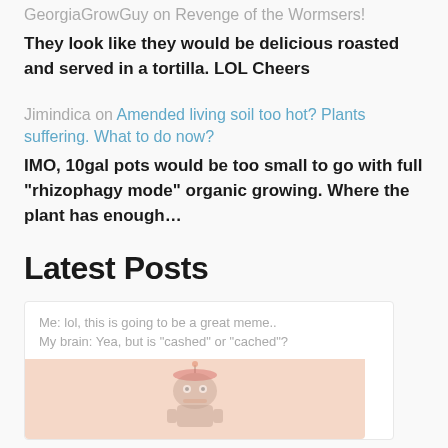GeorgiaGrowGuy on Revenge of the Wormsers!
They look like they would be delicious roasted and served in a tortilla. LOL Cheers
Jimindica on Amended living soil too hot? Plants suffering. What to do now?
IMO, 10gal pots would be too small to go with full "rhizophagy mode" organic growing. Where the plant has enough…
Latest Posts
Me: lol, this is going to be a great meme.. My brain: Yea, but is "cashed" or "cached"?
[Figure (illustration): Cartoon illustration on a peach/beige background, appears to show a robot or mechanical character]